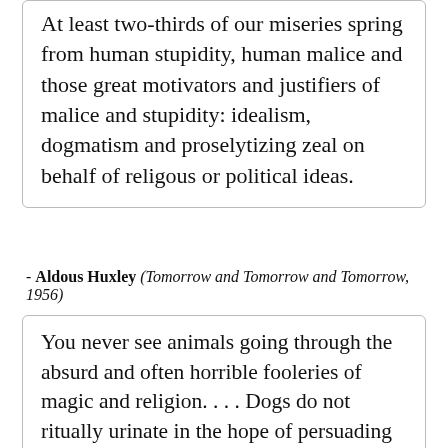At least two-thirds of our miseries spring from human stupidity, human malice and those great motivators and justifiers of malice and stupidity: idealism, dogmatism and proselytizing zeal on behalf of religous or political ideas.
- Aldous Huxley (Tomorrow and Tomorrow and Tomorrow, 1956)
You never see animals going through the absurd and often horrible fooleries of magic and religion. . . . Dogs do not ritually urinate in the hope of persuading heaven to do the same and send down rain. Asses do not bray a liturgy to cloudless skies. Nor do cats attempt, by abstinence from cat's meat, to wheedle the feline spirits into benevolence. Only man behaves with such gratuitous folly. It is the